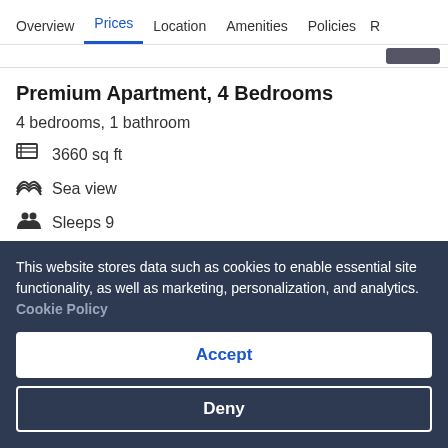Overview  Prices  Location  Amenities  Policies  R...
Premium Apartment, 4 Bedrooms
4 bedrooms, 1 bathroom
3660 sq ft
Sea view
Sleeps 9
4 Double Beds
More details >
This website stores data such as cookies to enable essential site functionality, as well as marketing, personalization, and analytics. Cookie Policy
Accept
Deny